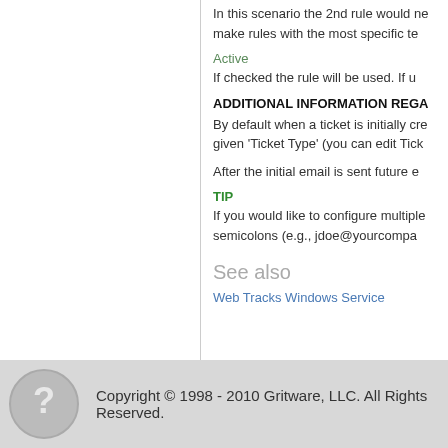In this scenario the 2nd rule would ne make rules with the most specific te
Active
If checked the rule will be used. If u
ADDITIONAL INFORMATION REGA
By default when a ticket is initially cre given 'Ticket Type' (you can edit Tick
After the initial email is sent future e
TIP
If you would like to configure multiple semicolons (e.g., jdoe@yourcompa
See also
Web Tracks Windows Service
Copyright © 1998 - 2010 Gritware, LLC. All Rights Reserved.